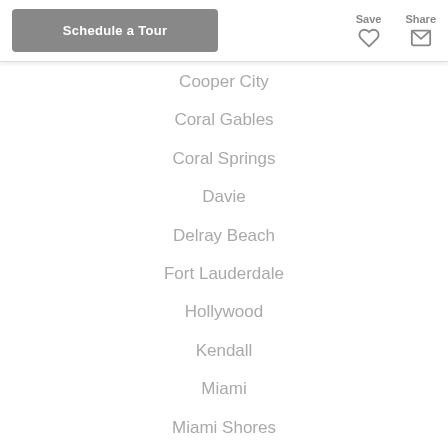Schedule a Tour | Save | Share
Cooper City
Coral Gables
Coral Springs
Davie
Delray Beach
Fort Lauderdale
Hollywood
Kendall
Miami
Miami Shores
Miramar
Parkland
Pembroke Pines
Plantation